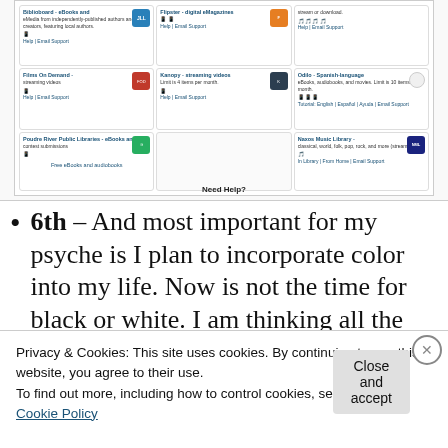[Figure (screenshot): Library digital resources panel showing eBook and streaming services: Biblioboard, Flipster, Kanopy, Films On Demand, Odilo, Naxos Music Library, Poudre River Public Libraries. Each cell shows service name, description, logo, and help/email support links. Bottom shows 'Need Help?' and 'Free eBooks and audiobooks' link.]
6th – And most important for my psyche is I plan to incorporate color into my life. Now is not the time for black or white. I am thinking all the colors of the
Privacy & Cookies: This site uses cookies. By continuing to use this website, you agree to their use.
To find out more, including how to control cookies, see here: Cookie Policy
Close and accept